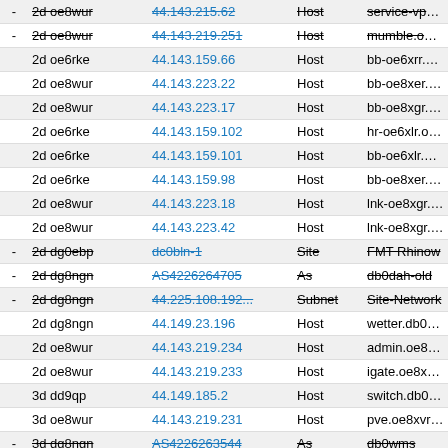| - | ID | IP/Resource | Type | Name |
| --- | --- | --- | --- | --- |
| - | 2d oe8wur | 44.143.215.62 | Host | service-vpn.oe8... |
| - | 2d oe8wur | 44.143.219.251 | Host | mumble.oe8xvr-... |
|  | 2d oe6rke | 44.143.159.66 | Host | bb-oe6xrr.oe8x... |
|  | 2d oe8wur | 44.143.223.22 | Host | bb-oe8xer.oe8x... |
|  | 2d oe8wur | 44.143.223.17 | Host | bb-oe8xgr.oe8x... |
|  | 2d oe6rke | 44.143.159.102 | Host | hr-oe6xlr.oe8xe... |
|  | 2d oe6rke | 44.143.159.101 | Host | bb-oe6xlr.oe8xe... |
|  | 2d oe6rke | 44.143.159.98 | Host | bb-oe8xer.oe6xl... |
|  | 2d oe8wur | 44.143.223.18 | Host | lnk-oe8xgr.oe8x... |
|  | 2d oe8wur | 44.143.223.42 | Host | lnk-oe8xgr.oe8x... |
| - | 2d dg0ebp | dc0bln-1 | Site | FMT Rhinow |
| - | 2d dg8ngn | AS4226264705 | As | db0dah-old |
| - | 2d dg8ngn | 44.225.108.192... | Subnet | Site-Network |
|  | 2d dg8ngn | 44.149.23.196 | Host | wetter.db0dah - ... |
|  | 2d oe8wur | 44.143.219.234 | Host | admin.oe8xvr - ... |
|  | 2d oe8wur | 44.143.219.233 | Host | igate.oe8xvr - S... |
|  | 3d dd9qp | 44.149.185.2 | Host | switch.db0acc - ... |
|  | 3d oe8wur | 44.143.219.231 | Host | pve.oe8xvr - Se... |
| - | 3d dg8ngn | AS4226263544 | As | db0wms |
| - | 3d dg8ngn | 44.149.63.0/25 | Subnet | Site-Network |
| - | 3d dg8ngn | 44.149.63.1 | Host | router.db0wms-... |
| - | 3d dg8ngn | 44.148.31.34 | Host | trx-pi2non-0.db... |
| - | 3d dg8ngn | 44.148.31.33 | Host | bb-pi2non-0.db... |